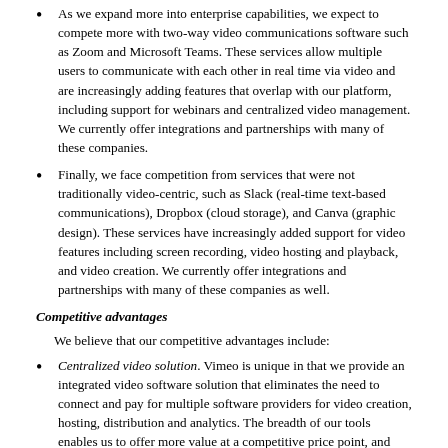As we expand more into enterprise capabilities, we expect to compete more with two-way video communications software such as Zoom and Microsoft Teams. These services allow multiple users to communicate with each other in real time via video and are increasingly adding features that overlap with our platform, including support for webinars and centralized video management. We currently offer integrations and partnerships with many of these companies.
Finally, we face competition from services that were not traditionally video-centric, such as Slack (real-time text-based communications), Dropbox (cloud storage), and Canva (graphic design). These services have increasingly added support for video features including screen recording, video hosting and playback, and video creation. We currently offer integrations and partnerships with many of these companies as well.
Competitive advantages
We believe that our competitive advantages include:
Centralized video solution. Vimeo is unique in that we provide an integrated video software solution that eliminates the need to connect and pay for multiple software providers for video creation, hosting, distribution and analytics. The breadth of our tools enables us to offer more value at a competitive price point, and serve a broader range of customer types and use cases.
According to distribution. Each specialized platform serves and that